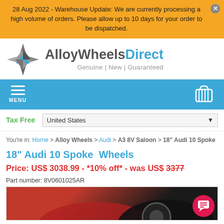28 Aug 2022 - Warehouse Update: We are currently processing a high volume of orders. Please allow up to 10 days for your order to be dispatched.
[Figure (logo): Alloy Wheels Direct logo with geometric star/arrow icon in silver and blue, text: Alloy Wheels Direct, Genuine | New | Guaranteed]
MENU navigation bar with hamburger icon and cart icon
Tax Free   United States
You're in: Home > Alloy Wheels > Audi > A3 8V Saloon > 18" Audi 10 Spoke
18" Audi 10 Spoke  Wheels
Price: US$ 3038.99 - *10% off* - was US$ 3377
Part number: 8V0601025AR
[Figure (photo): Partial view of a red/dark car with alloy wheel visible at bottom of page]